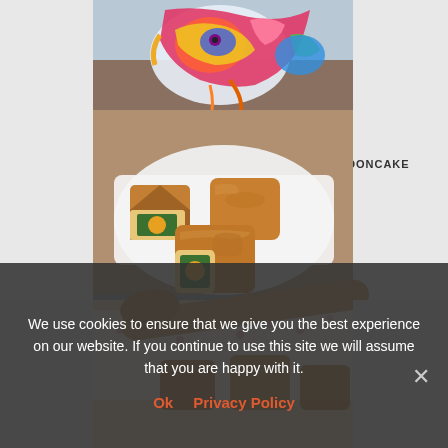[Figure (photo): Top photo showing Single Yolk Lotus Paste Mooncake - colorful decorative fish/koi artwork at top, with mooncakes on a white plate, one cut open showing egg yolk filling, from messykitchen.com]
[Figure (photo): Bottom photo showing mooncakes on a floral patterned surface with wooden spatula/scoop]
We use cookies to ensure that we give you the best experience on our website. If you continue to use this site we will assume that you are happy with it.
Ok   Privacy Policy